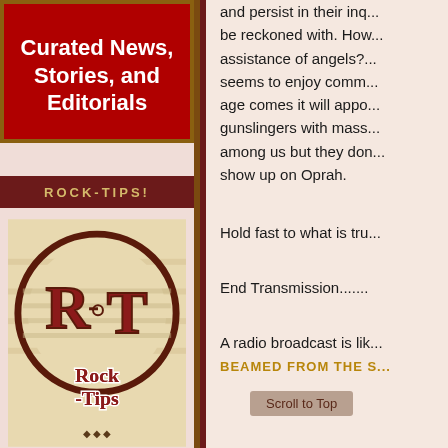Curated News, Stories, and Editorials
ROCK-TIPS!
[Figure (logo): Rock-Tips logo: circular emblem with 'R-T' initials and 'Rock-Tips' text below in decorative red and cream lettering on a tan/beige background]
and persist in their inq... be reckoned with. How... assistance of angels? ... seems to enjoy comm... age comes it will appo... gunslingers with mass... among us but they do... show up on Oprah.
Hold fast to what is tru...
End Transmission.......
A radio broadcast is li...
BEAMED FROM THE S...